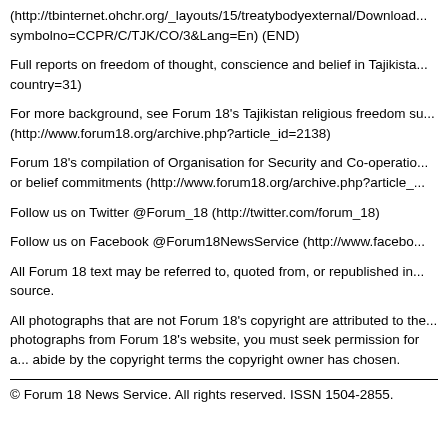(http://tbinternet.ohchr.org/_layouts/15/treatybodyexternal/Download...symbolno=CCPR/C/TJK/CO/3&Lang=En) (END)
Full reports on freedom of thought, conscience and belief in Tajikistan...country=31)
For more background, see Forum 18's Tajikistan religious freedom su...(http://www.forum18.org/archive.php?article_id=2138)
Forum 18's compilation of Organisation for Security and Co-operation...or belief commitments (http://www.forum18.org/archive.php?article_...
Follow us on Twitter @Forum_18 (http://twitter.com/forum_18)
Follow us on Facebook @Forum18NewsService (http://www.facebo...
All Forum 18 text may be referred to, quoted from, or republished in...source.
All photographs that are not Forum 18's copyright are attributed to the...photographs from Forum 18's website, you must seek permission for a...abide by the copyright terms the copyright owner has chosen.
© Forum 18 News Service. All rights reserved. ISSN 1504-2855.